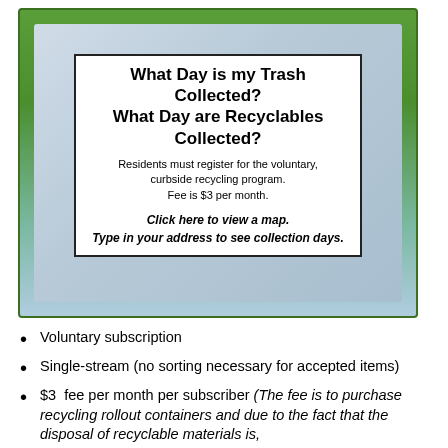[Figure (infographic): Green and silver framed informational box with white inner content area containing title and text about trash and recycling collection days]
What Day is my Trash Collected? What Day are Recyclables Collected?
Residents must register for the voluntary, curbside recycling program. Fee is $3 per month.
Click here to view a map. Type in your address to see collection days.
Voluntary subscription
Single-stream (no sorting necessary for accepted items)
$3  fee per month per subscriber (The fee is to purchase recycling rollout containers and due to the fact that the disposal of recyclable materials is,